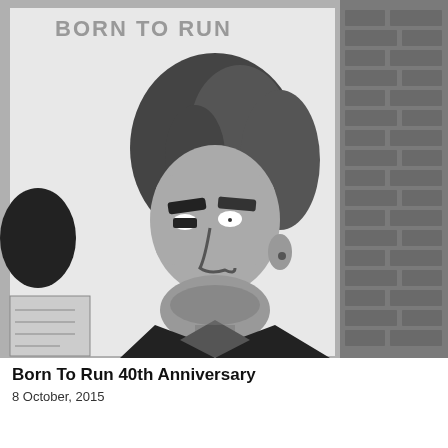[Figure (illustration): Black and white photo of a large illustrated poster/artwork showing a cartoon-style caricature of a rock musician (Bruce Springsteen style) with curly dark hair, a big grin showing white teeth, wearing a dark jacket, with 'BORN TO RUN' text visible at the top. A brick wall is visible on the right side and another figure/object partially visible on the left. The artwork is a simplified bold graphic illustration style.]
Born To Run 40th Anniversary
8 October, 2015